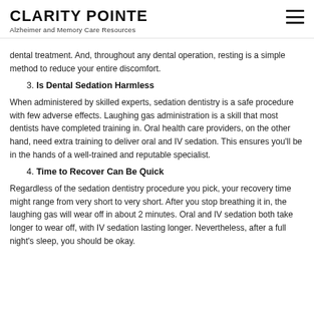CLARITY POINTE
Alzheimer and Memory Care Resources
dental treatment. And, throughout any dental operation, resting is a simple method to reduce your entire discomfort.
3. Is Dental Sedation Harmless
When administered by skilled experts, sedation dentistry is a safe procedure with few adverse effects. Laughing gas administration is a skill that most dentists have completed training in. Oral health care providers, on the other hand, need extra training to deliver oral and IV sedation. This ensures you'll be in the hands of a well-trained and reputable specialist.
4. Time to Recover Can Be Quick
Regardless of the sedation dentistry procedure you pick, your recovery time might range from very short to very short. After you stop breathing it in, the laughing gas will wear off in about 2 minutes. Oral and IV sedation both take longer to wear off, with IV sedation lasting longer. Nevertheless, after a full night's sleep, you should be okay.